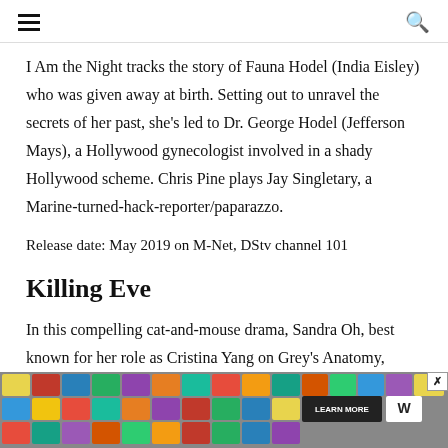☰  🔍
I Am the Night tracks the story of Fauna Hodel (India Eisley) who was given away at birth. Setting out to unravel the secrets of her past, she's led to Dr. George Hodel (Jefferson Mays), a Hollywood gynecologist involved in a shady Hollywood scheme. Chris Pine plays Jay Singletary, a Marine-turned-hack-reporter/paparazzo.
Release date: May 2019 on M-Net, DStv channel 101
Killing Eve
In this compelling cat-and-mouse drama, Sandra Oh, best known for her role as Cristina Yang on Grey's Anatomy, plays Eve Polastri,
[Figure (photo): Advertisement banner showing a colorful collage of food/product images with a 'LEARN MORE' button and 'W' logo]